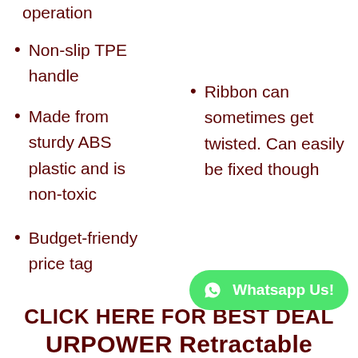operation
Non-slip TPE handle
Ribbon can sometimes get twisted. Can easily be fixed though
Made from sturdy ABS plastic and is non-toxic
Budget-friendy price tag
CLICK HERE FOR BEST DEAL
URPOWER Retractable
Whatsapp Us!